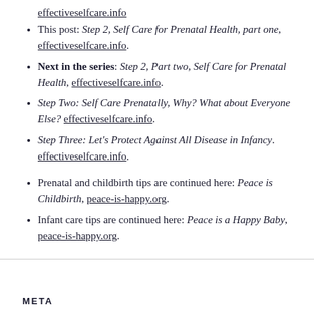This post: Step 2, Self Care for Prenatal Health, part one, effectiveselfcare.info.
Next in the series: Step 2, Part two, Self Care for Prenatal Health, effectiveselfcare.info.
Step Two: Self Care Prenatally, Why? What about Everyone Else? effectiveselfcare.info.
Step Three: Let's Protect Against All Disease in Infancy. effectiveselfcare.info.
Prenatal and childbirth tips are continued here: Peace is Childbirth, peace-is-happy.org.
Infant care tips are continued here: Peace is a Happy Baby, peace-is-happy.org.
META